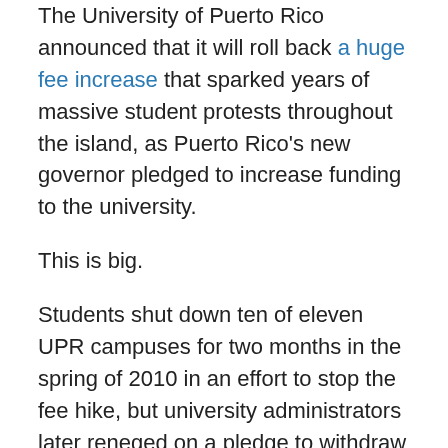The University of Puerto Rico announced that it will roll back a huge fee increase that sparked years of massive student protests throughout the island, as Puerto Rico's new governor pledged to increase funding to the university.
This is big.
Students shut down ten of eleven UPR campuses for two months in the spring of 2010 in an effort to stop the fee hike, but university administrators later reneged on a pledge to withdraw it. Dozens of students were arrested and beaten in January 2011 as the fee went into effect, as police occupied UPR's Rio Piedras campus for the first time in more than three decades.
The 2011 protests led to the resignation of UPR's president, but failed to stop the hike, and the student